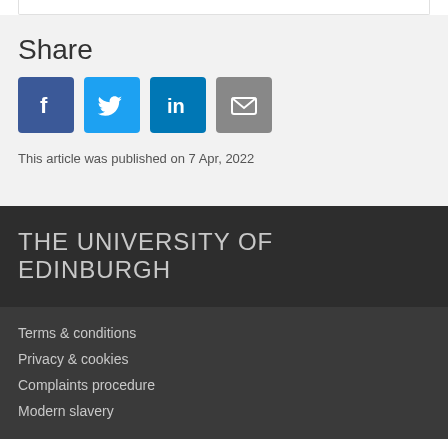Share
[Figure (other): Social media share icons: Facebook, Twitter, LinkedIn, Email]
This article was published on 7 Apr, 2022
THE UNIVERSITY OF EDINBURGH
Terms & conditions
Privacy & cookies
Complaints procedure
Modern slavery